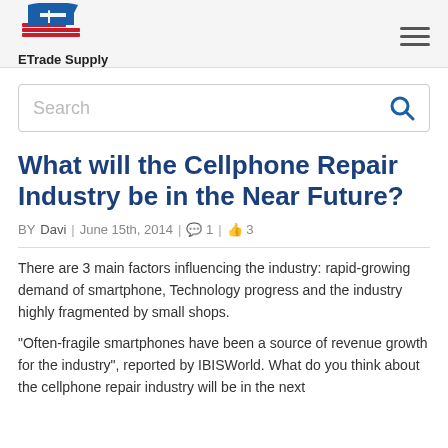ETrade Supply
[Figure (logo): ETrade Supply logo with stylized 'E' in blue and red with red stripes]
Search
What will the Cellphone Repair Industry be in the Near Future?
BY Davi | June 15th, 2014 | 1 | 3
There are 3 main factors influencing the industry: rapid-growing demand of smartphone, Technology progress and the industry highly fragmented by small shops.
“Often-fragile smartphones have been a source of revenue growth for the industry”, reported by IBISWorld. What do you think about the cellphone repair industry will be in the next